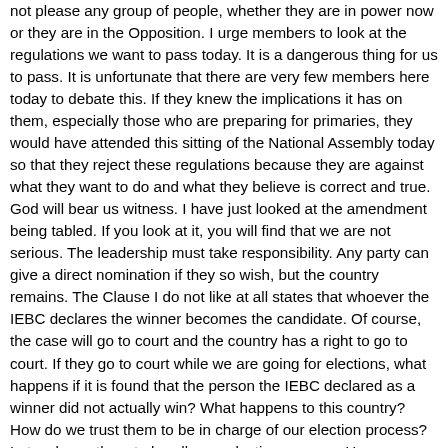not please any group of people, whether they are in power now or they are in the Opposition. I urge members to look at the regulations we want to pass today. It is a dangerous thing for us to pass. It is unfortunate that there are very few members here today to debate this. If they knew the implications it has on them, especially those who are preparing for primaries, they would have attended this sitting of the National Assembly today so that they reject these regulations because they are against what they want to do and what they believe is correct and true. God will bear us witness. I have just looked at the amendment being tabled. If you look at it, you will find that we are not serious. The leadership must take responsibility. Any party can give a direct nomination if they so wish, but the country remains. The Clause I do not like at all states that whoever the IEBC declares the winner becomes the candidate. Of course, the case will go to court and the country has a right to go to court. If they go to court while we are going for elections, what happens if it is found that the person the IEBC declared as a winner did not actually win? What happens to this country? How do we trust them to be in charge of our election process? Let us leave them to handle our election process. Hon. Speaker, I am sure you are aware of this. They are not even prepared for the national elections. They have not bought the equipment required for this country to conduct the